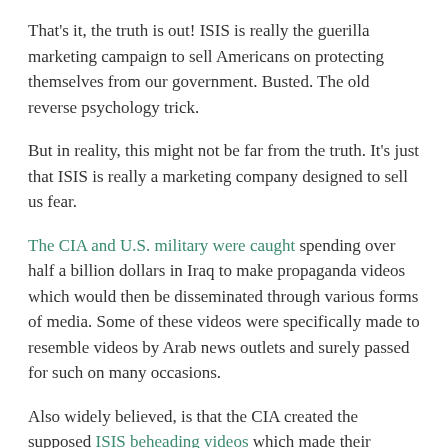That's it, the truth is out! ISIS is really the guerilla marketing campaign to sell Americans on protecting themselves from our government. Busted. The old reverse psychology trick.
But in reality, this might not be far from the truth. It's just that ISIS is really a marketing company designed to sell us fear.
The CIA and U.S. military were caught spending over half a billion dollars in Iraq to make propaganda videos which would then be disseminated through various forms of media. Some of these videos were specifically made to resemble videos by Arab news outlets and surely passed for such on many occasions.
Also widely believed, is that the CIA created the supposed ISIS beheading videos which made their rounds a couple years ago. And seeing as there is plenty of evidence that the CIA created ISIS itself, this is not hard to believe.
Take it With a Grain of Thallium Sulfate